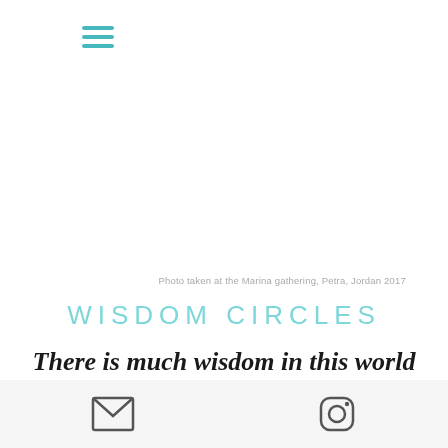[Figure (other): Hamburger menu icon with three teal horizontal lines]
Photo taken at the Marina gathering, Petra, Jordan 2017
WISDOM CIRCLES
There is much wisdom in this world that needs to be revived and
[Figure (other): Bottom navigation bar with email/envelope icon on the left and Instagram icon on the right]